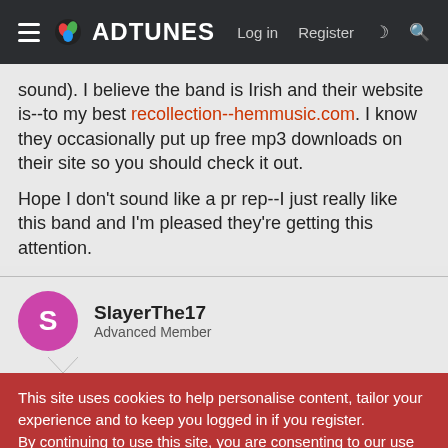ADTUNES — Log in | Register
sound). I believe the band is Irish and their website is--to my best recollection--hemmusic.com. I know they occasionally put up free mp3 downloads on their site so you should check it out.

Hope I don't sound like a pr rep--I just really like this band and I'm pleased they're getting this attention.
SlayerThe17
Advanced Member
This site uses cookies to help personalise content, tailor your experience and to keep you logged in if you register.
By continuing to use this site, you are consenting to our use of cookies.